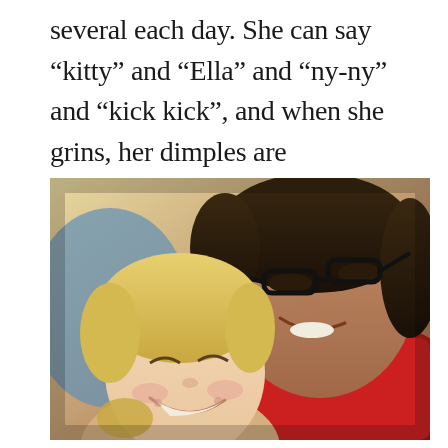several each day. She can say “kitty” and “Ella” and “ny-ny” and “kick kick”, and when she grins, her dimples are magnificent.
[Figure (photo): A smiling woman with dark hair and black-rimmed glasses, cheek-to-cheek with a young blonde toddler who is also smiling. The woman is wearing a red top. The photo has a warm, slightly vintage tone.]